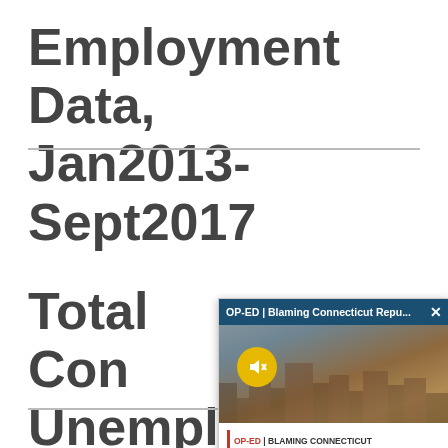Employment Data, Jan2013-Sept2017
Total Connecticut Unemployment
[Figure (screenshot): A browser popup overlay showing an op-ed article preview with header 'OP-ED | Blaming Connecticut Repu...' on a dark blue background with close button, a city skyline image with a yellow mute button, and caption text 'OP-ED | BLAMING CONNECTICUT REPUBLICANS FOR OVERDUE REFORMS? THAT'S A STRETCH | CT NEWS JUNKIE']